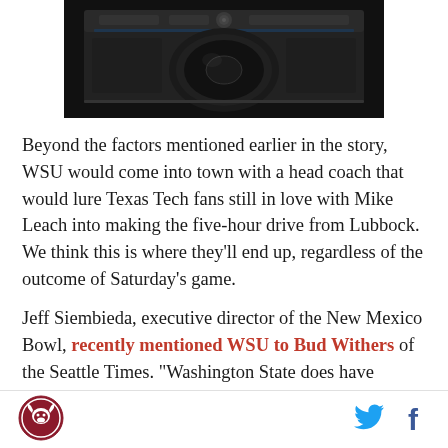[Figure (photo): Black washing machine or dryer appliance viewed from above/front angle against dark background]
Beyond the factors mentioned earlier in the story, WSU would come into town with a head coach that would lure Texas Tech fans still in love with Mike Leach into making the five-hour drive from Lubbock. We think this is where they'll end up, regardless of the outcome of Saturday's game.
Jeff Siembieda, executive director of the New Mexico Bowl, recently mentioned WSU to Bud Withers of the Seattle Times. "Washington State does have
[Figure (logo): New Mexico State Aggies logo - circular red logo with ram head]
[Figure (other): Twitter bird icon in blue]
[Figure (other): Facebook f icon in dark blue]